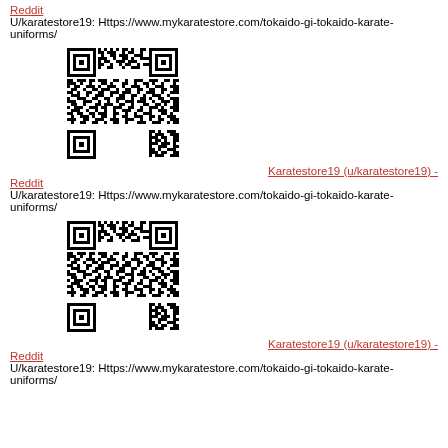Reddit
U/karatestore19: Https://www.mykaratestore.com/tokaido-gi-tokaido-karate-uniforms/
[Figure (other): QR code linking to mykaratestore.com tokaido-gi page]
Karatestore19 (u/karatestore19) - Reddit
U/karatestore19: Https://www.mykaratestore.com/tokaido-gi-tokaido-karate-uniforms/
[Figure (other): QR code linking to mykaratestore.com tokaido-gi page]
Karatestore19 (u/karatestore19) - Reddit
U/karatestore19: Https://www.mykaratestore.com/tokaido-gi-tokaido-karate-uniforms/